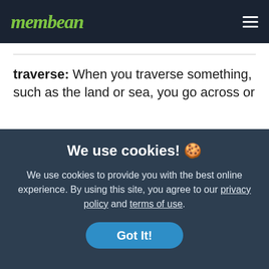membean
traverse: When you traverse something, such as the land or sea, you go across or...
We use cookies! 🍪
We use cookies to provide you with the best online experience. By using this site, you agree to our privacy policy and terms of use.
Got It!